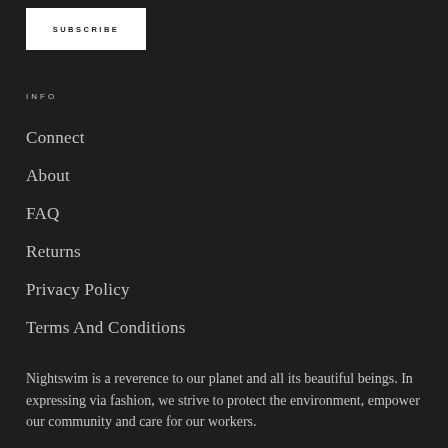SUBSCRIBE
INFO
Connect
About
FAQ
Returns
Privacy Policy
Terms And Conditions
Nightswim is a reverence to our planet and all its beautiful beings. In expressing via fashion, we strive to protect the environment, empower our community and care for our workers.